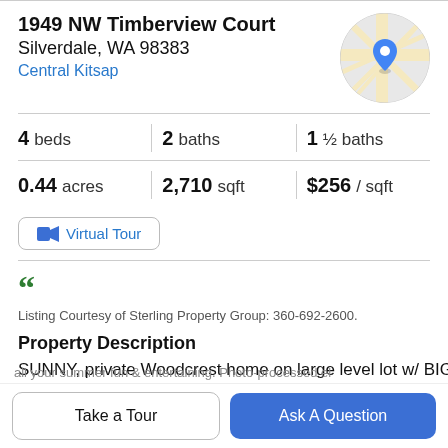1949 NW Timberview Court
Silverdale, WA 98383
Central Kitsap
[Figure (map): Circular map thumbnail showing road intersections with a blue location pin marker in the center]
4 beds  |  2 baths  |  1 ½ baths
0.44 acres  |  2,710 sqft  |  $256 / sqft
Virtual Tour
[Figure (logo): Green quotation mark / agency logo for Sterling Property Group]
Listing Courtesy of Sterling Property Group: 360-692-2600.
Property Description
SUNNY, private Woodcrest home on large level lot w/ BIG
Take a Tour
Ask A Question
all your summer fun & entertaining. Photo-processed el